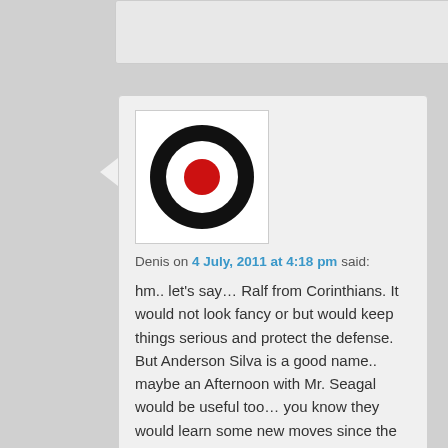[Figure (logo): Circular target/bullseye logo with black outer ring, white middle ring, and red center dot on white background]
Denis on 4 July, 2011 at 4:18 pm said:
hm.. let's say… Ralf from Corinthians. It would not look fancy or but would keep things serious and protect the defense. But Anderson Silva is a good name.. maybe an Afternoon with Mr. Seagal would be useful too… you know they would learn some new moves since the BALLET ones are not working well.

I also miss on that team Leandro Damião.

Ramirez is out of control, looks like Vera Verão most times for me…
http://www.youtube.com/watch?v=6ujJTpaNLdc